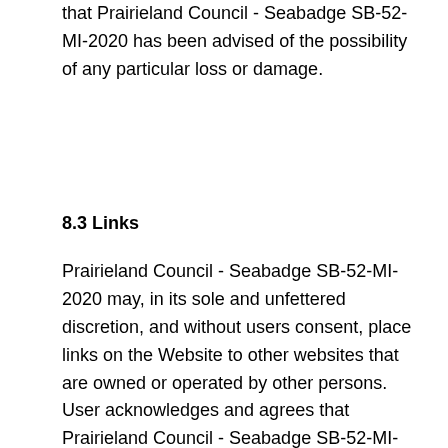that Prairieland Council - Seabadge SB-52-MI-2020 has been advised of the possibility of any particular loss or damage.
8.3 Links
Prairieland Council - Seabadge SB-52-MI-2020 may, in its sole and unfettered discretion, and without users consent, place links on the Website to other websites that are owned or operated by other persons. User acknowledges and agrees that Prairieland Council - Seabadge SB-52-MI-2020 is not responsible for the operation of or content located on any such website, and Prairieland Council - Seabadge SB-52-MI-2020 cannot and does not warrant that the content of such websites is accurate, complete, legal and/or inoffensive. By choosing to link to these other websites, user acknowledges and agrees that it may not make any claim against Prairieland Council - Seabadge SB-52-MI-2020 for